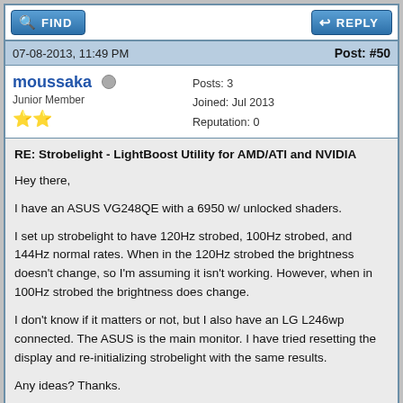FIND | REPLY
07-08-2013, 11:49 PM | Post: #50
moussaka (offline)
Junior Member
★★
Posts: 3
Joined: Jul 2013
Reputation: 0
RE: Strobelight - LightBoost Utility for AMD/ATI and NVIDIA

Hey there,

I have an ASUS VG248QE with a 6950 w/ unlocked shaders.

I set up strobelight to have 120Hz strobed, 100Hz strobed, and 144Hz normal rates. When in the 120Hz strobed the brightness doesn't change, so I'm assuming it isn't working. However, when in 100Hz strobed the brightness does change.

I don't know if it matters or not, but I also have an LG L246wp connected. The ASUS is the main monitor. I have tried resetting the display and re-initializing strobelight with the same results.

Any ideas? Thanks.
FIND | REPLY